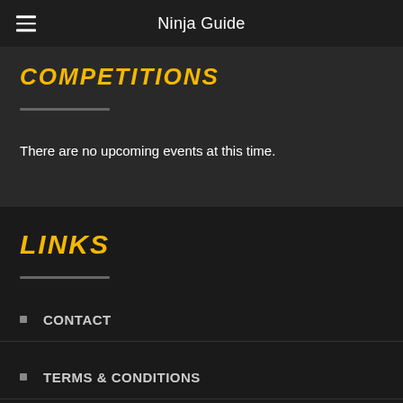Ninja Guide
COMPETITIONS
There are no upcoming events at this time.
LINKS
CONTACT
TERMS & CONDITIONS
PRIVACY POLICY